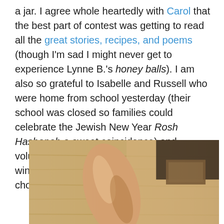a jar. I agree whole heartedly with Carol that the best part of contest was getting to read all the great stories, recipes, and poems (though I'm sad I might never get to experience Lynne B.'s honey balls). I am also so grateful to Isabelle and Russell who were home from school yesterday (their school was closed so families could celebrate the Jewish New Year Rosh Hashanah-a sweet coincidence) and volunteered to put on a blindfold and pick the winners because I didn't have the heart to choose.
[Figure (photo): Close-up photo of a person's hand or arm near a wooden surface, with blurred background showing wood grain texture and a dark object in the upper right. The image appears to show someone preparing to pick something from a jar blindfolded.]